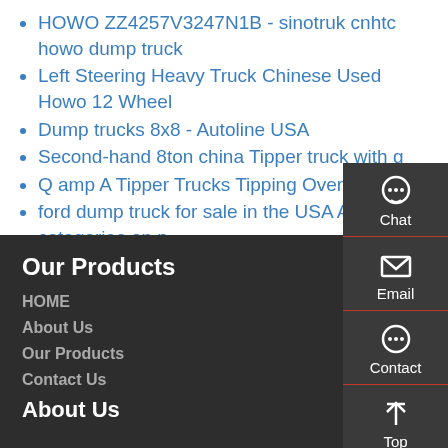HOWO ZZ4257V3247N1B - sinotruk cnhtc howo dump truck
Left Steering Heavy Truck Chinese Used Howo 12 Wheel
Dump trucks 8x8 - Autoline USA
Second-hand 8ton china Tipper truck with g
Q amp A Tipper Trucks Tipping Over
ford dump truck for sale in the USA All categories on p 2
Our Products
HOME
About Us
Our Products
Contact Us
About Us